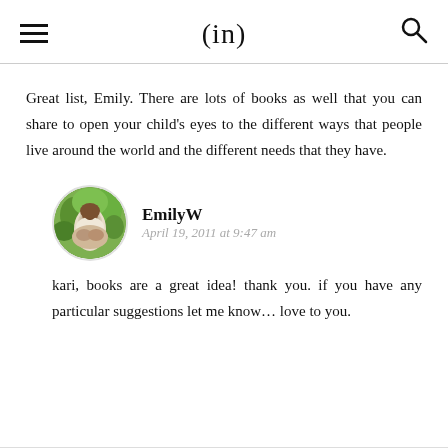(in)
Great list, Emily. There are lots of books as well that you can share to open your child's eyes to the different ways that people live around the world and the different needs that they have.
EmilyW
April 19, 2011 at 9:47 am
kari, books are a great idea! thank you. if you have any particular suggestions let me know... love to you.